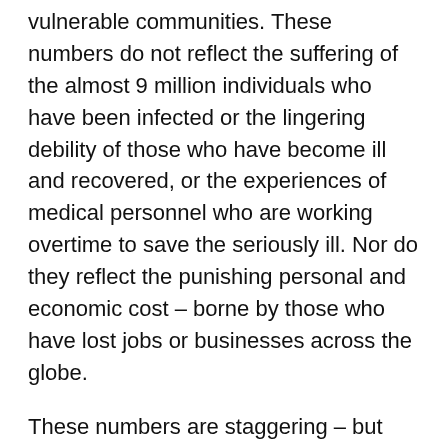vulnerable communities. These numbers do not reflect the suffering of the almost 9 million individuals who have been infected or the lingering debility of those who have become ill and recovered, or the experiences of medical personnel who are working overtime to save the seriously ill. Nor do they reflect the punishing personal and economic cost – borne by those who have lost jobs or businesses across the globe.
These numbers are staggering – but they are numbers – and we are familiar with (and jaded to) the quantification of suffering in such terms – and if we even able to feel the grief of such numbers we are likely fatigued into a kind of